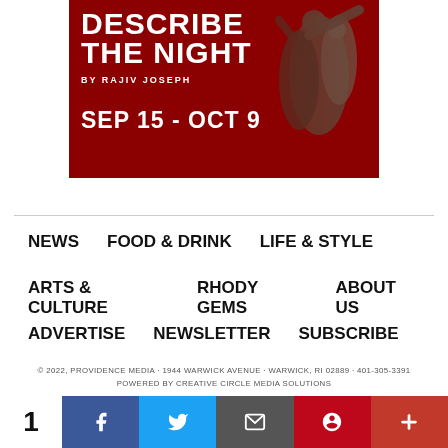[Figure (illustration): Theater advertisement banner on dark red background showing 'DESCRIBE THE NIGHT by Rajiv Joseph, SEP 15 - OCT 9' with dramatic statue imagery]
NEWS   FOOD & DRINK   LIFE & STYLE
ARTS & CULTURE   RHODY GEMS   ABOUT US
ADVERTISE   NEWSLETTER   SUBSCRIBE
© 2022, PROVIDENCE MEDIA · 1944 WARWICK AVENUE · WARWICK, RI 02889 · 401-305-3391
POWERED BY CREATIVE CIRCLE MEDIA SOLUTIONS